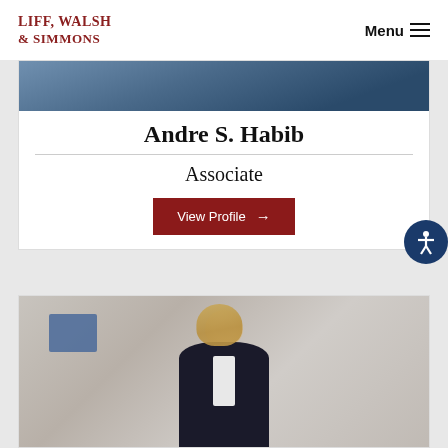Liff, Walsh & Simmons | Menu
[Figure (photo): Partial photo of Andre S. Habib at the top of the card]
Andre S. Habib
Associate
View Profile →
[Figure (photo): Photo of a woman with long blonde hair wearing a dark blazer, smiling in an office setting]